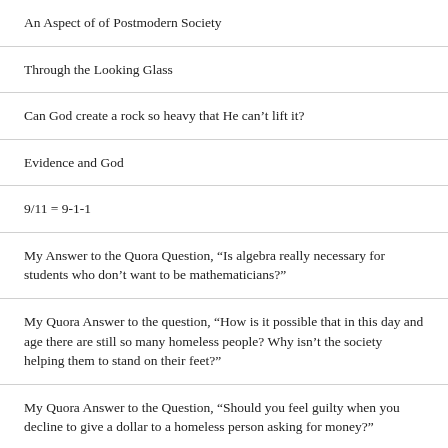An Aspect of of Postmodern Society
Through the Looking Glass
Can God create a rock so heavy that He can’t lift it?
Evidence and God
9/11 = 9-1-1
My Answer to the Quora Question, “Is algebra really necessary for students who don’t want to be mathematicians?”
My Quora Answer to the question, “How is it possible that in this day and age there are still so many homeless people? Why isn’t the society helping them to stand on their feet?”
My Quora Answer to the Question, “Should you feel guilty when you decline to give a dollar to a homeless person asking for money?”